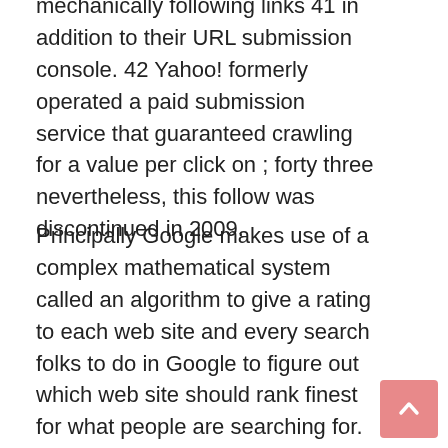mechanically following links 41 in addition to their URL submission console. 42 Yahoo! formerly operated a paid submission service that guaranteed crawling for a value per click on ; forty three nevertheless, this follow was discontinued in 2009.
Principally Google makes use of a complex mathematical system called an algorithm to give a rating to each web site and every search folks to do in Google to figure out which web site should rank finest for what people are searching for. This opens potential enterprise opportunities for many who have a aptitude for words. Starting a blog and monetizing it is one technique to make a living online. The incomes potential here is immense.